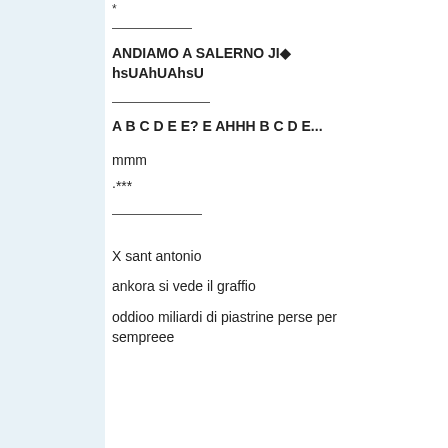*
________
ANDIAMO A SALERNO JI� hsUAhUAhsU
__________
A B C D E E? E AHHH B C D E...
mmm
·***
_________
X sant antonio
ankora si vede il graffio
oddioo miliardi di piastrine perse per sempreee